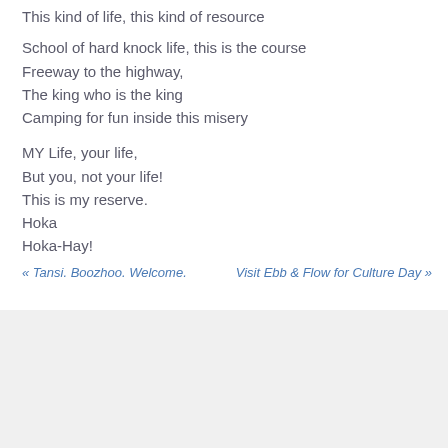This kind of life, this kind of resource
School of hard knock life, this is the course
Freeway to the highway,
The king who is the king
Camping for fun inside this misery

MY Life, your life,
But you, not your life!
This is my reserve.
Hoka
Hoka-Hay!
« Tansi. Boozhoo. Welcome.
Visit Ebb & Flow for Culture Day »
[Figure (logo): Circular logo with parentheses and circle design in golden/yellow color, partial view at bottom of page]